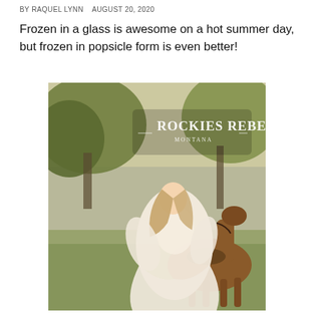BY RAQUEL LYNN   AUGUST 20, 2020
Frozen in a glass is awesome on a hot summer day, but frozen in popsicle form is even better!
[Figure (photo): A young woman in a flowing white dress riding a horse outdoors with trees in the background. A 'Rockies Rebels Montana' logo watermark appears in the upper portion of the image.]